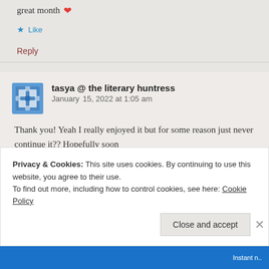great month ❤
★ Like
Reply
tasya @ the literary huntress  January 15, 2022 at 1:05 am
Thank you! Yeah I really enjoyed it but for some reason just never continue it?? Hopefully soon
Privacy & Cookies: This site uses cookies. By continuing to use this website, you agree to their use.
To find out more, including how to control cookies, see here: Cookie Policy
Close and accept